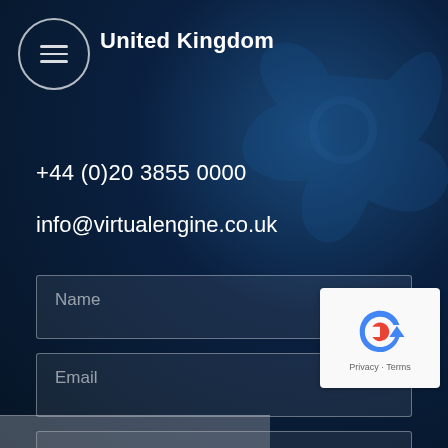United Kingdom
+44 (0)20 3855 0000
info@virtualengine.co.uk
[Figure (screenshot): Contact form with Name, Email, and Message fields on a dark blue background with a gear/cog decorative element]
[Figure (logo): reCAPTCHA badge with Privacy and Terms links]